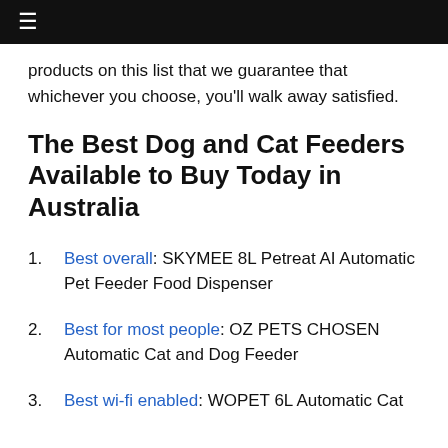≡
products on this list that we guarantee that whichever you choose, you'll walk away satisfied.
The Best Dog and Cat Feeders Available to Buy Today in Australia
Best overall: SKYMEE 8L Petreat AI Automatic Pet Feeder Food Dispenser
Best for most people: OZ PETS CHOSEN Automatic Cat and Dog Feeder
Best wi-fi enabled: WOPET 6L Automatic Cat